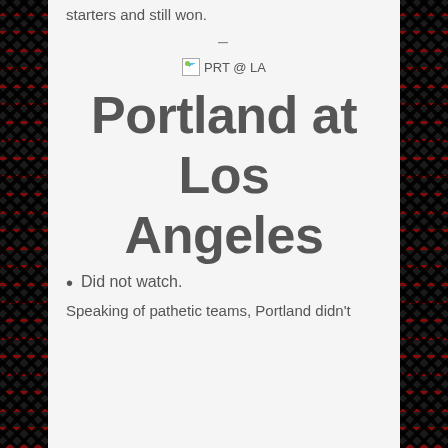starters and still won.
[Figure (other): Broken image placeholder labeled 'PRT @ LA']
Portland at Los Angeles
Did not watch.
Speaking of pathetic teams, Portland didn't fare well this…